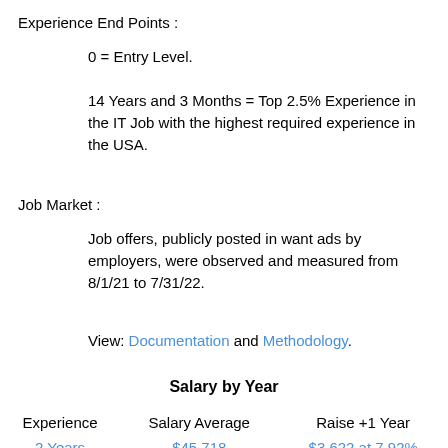Experience End Points :
0 = Entry Level.
14 Years and 3 Months = Top 2.5% Experience in the IT Job with the highest required experience in the USA.
Job Market :
Job offers, publicly posted in want ads by employers, were observed and measured from 8/1/21 to 7/31/22.
View: Documentation and Methodology.
Salary by Year
| Experience | Salary Average | Raise +1 Year |
| --- | --- | --- |
| 2 Years | $45,718 | $3,622 at 7.92% |